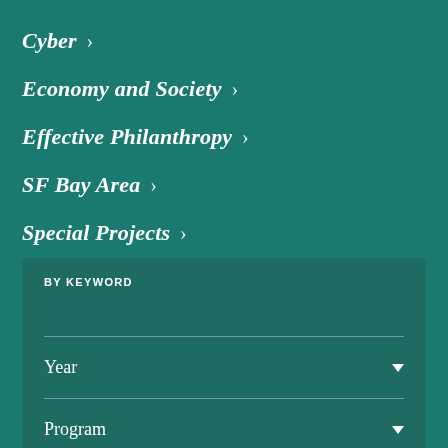Cyber >
Economy and Society >
Effective Philanthropy >
SF Bay Area >
Special Projects >
BY KEYWORD
Year
Program